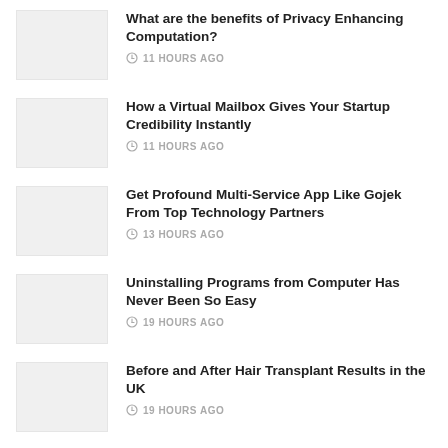What are the benefits of Privacy Enhancing Computation? · 11 HOURS AGO
How a Virtual Mailbox Gives Your Startup Credibility Instantly · 11 HOURS AGO
Get Profound Multi-Service App Like Gojek From Top Technology Partners · 13 HOURS AGO
Uninstalling Programs from Computer Has Never Been So Easy · 19 HOURS AGO
Before and After Hair Transplant Results in the UK · 19 HOURS AGO